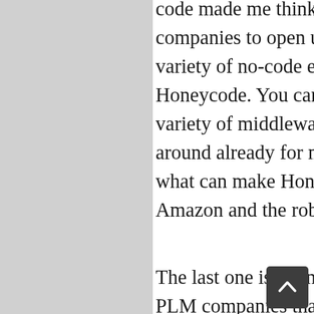code made me think about the opportunity for PLM companies to open up their data and connect it to a variety of no-code environments like Amazon Honeycode. You can say, it is not a big deal, because a variety of middleware and application builders are around already for many years. You might be right, but what can make Honeycode different is the power of Amazon and the robustness of the integrations.
The last one is an interesting opportunity for true SaaS PLM companies that can open up their data models and allow integration with AWS Honeycode environment to build custom workflow and applications. SaaS PLM holds valuable data about the product, data structures, and design. At the same time, Amazon Honeycode can provide easy